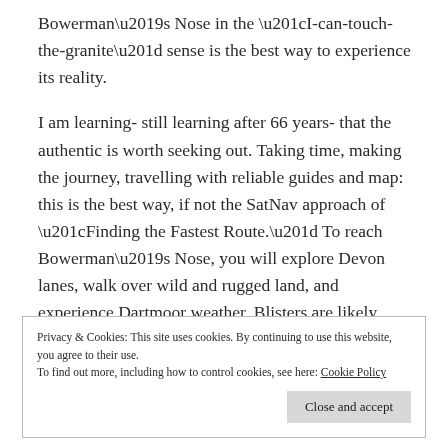Bowerman's Nose in the “I-can-touch-the-granite” sense is the best way to experience its reality.
I am learning- still learning after 66 years- that the authentic is worth seeking out. Taking time, making the journey, travelling with reliable guides and map: this is the best way, if not the SatNav approach of “Finding the Fastest Route.” To reach Bowerman’s Nose, you will explore Devon lanes, walk over wild and rugged land, and experience Dartmoor weather. Blisters are likely.
Privacy & Cookies: This site uses cookies. By continuing to use this website, you agree to their use. To find out more, including how to control cookies, see here: Cookie Policy